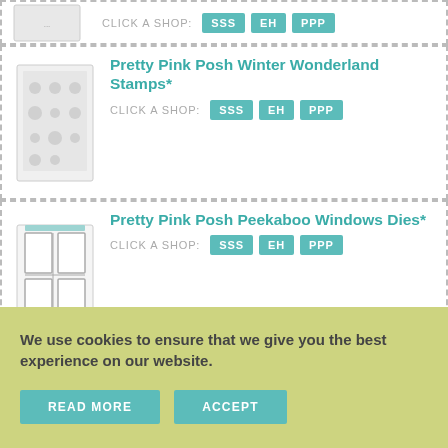[Figure (illustration): Partial product image at top]
CLICK A SHOP: SSS EH PPP
[Figure (illustration): Pretty Pink Posh Winter Wonderland Stamps product image]
Pretty Pink Posh Winter Wonderland Stamps*
CLICK A SHOP: SSS EH PPP
[Figure (illustration): Pretty Pink Posh Peekaboo Windows Dies product image]
Pretty Pink Posh Peekaboo Windows Dies*
CLICK A SHOP: SSS EH PPP
[Figure (illustration): Sizzix Big Shot product image]
Sizzix Big Shot
CLICK A SHOP: SSS EH
[Figure (illustration): Hero Arts Black Dye Ink product image]
Hero Arts Black Dye Ink
CLICK A SHOP: SSS EH
We use cookies to ensure that we give you the best experience on our website.
READ MORE
ACCEPT